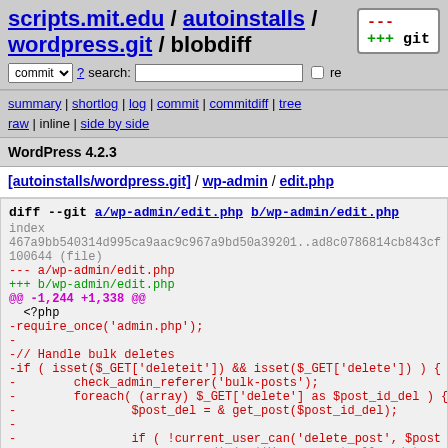scripts.mit.edu / autoinstalls / wordpress.git / blobdiff
commit search: re
summary | shortlog | log | commit | commitdiff | tree
raw | inline | side by side
WordPress 4.2.3
[autoinstalls/wordpress.git] / wp-admin / edit.php
diff --git a/wp-admin/edit.php b/wp-admin/edit.php
index 467a9bb540314d995ca9aac9c967a9bd50a39201..ad8c0786814cb843cf
100644 (file)
--- a/wp-admin/edit.php
+++ b/wp-admin/edit.php
@@ -1,244 +1,338 @@
  <?php
-require_once('admin.php');
-
-// Handle bulk deletes
-if ( isset($_GET['deleteit']) && isset($_GET['delete']) ) {
-        check_admin_referer('bulk-posts');
-        foreach( (array) $_GET['delete'] as $post_id_del ) {
-                $post_del = & get_post($post_id_del);
-
-                if ( !current_user_can('delete_post', $post...